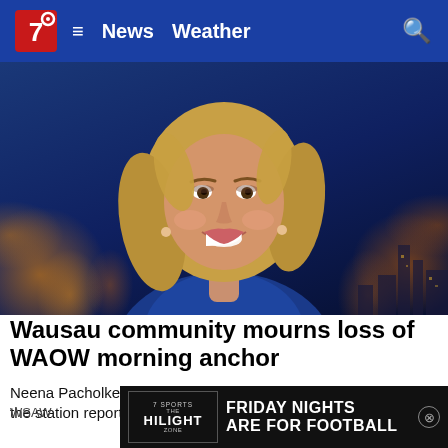7 News Weather
[Figure (photo): Smiling blonde female news anchor with wavy hair, wearing a blue top, posed in front of a blurred city skyline at night with bokeh lights in orange and blue tones.]
Wausau community mourns loss of WAOW morning anchor
Neena Pacholke, an anchor for WAOW-TV in Wausau has died the station reported Monday.
WSAW
[Figure (infographic): Ad banner: 7 Sports The Hilight Zone logo on the left, text reading FRIDAY NIGHTS ARE FOR FOOTBALL in bold white on black background. X close button at right.]